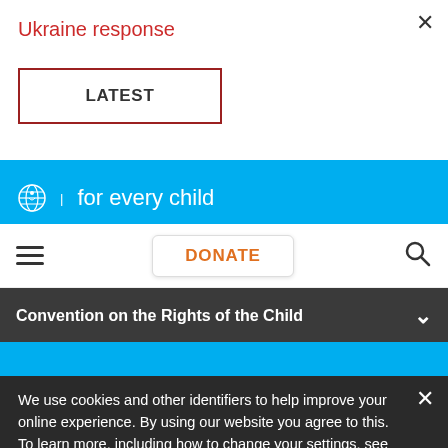Ukraine response
LATEST
Global Shared Services Centre
unicef for every child
DONATE
Convention on the Rights of the Child
BECOME A DONOR
[Figure (other): Social media icons: Facebook, Twitter, Instagram, YouTube, LinkedIn]
We use cookies and other identifiers to help improve your online experience. By using our website you agree to this. To learn more, including how to change your settings, see our cookies policy.